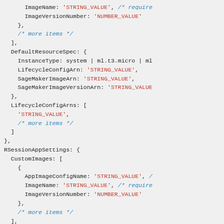Code snippet showing AWS SDK JavaScript configuration structure with ImageName, ImageVersionNumber, DefaultResourceSpec, LifecycleConfigArns, RSessionAppSettings, CustomImages fields